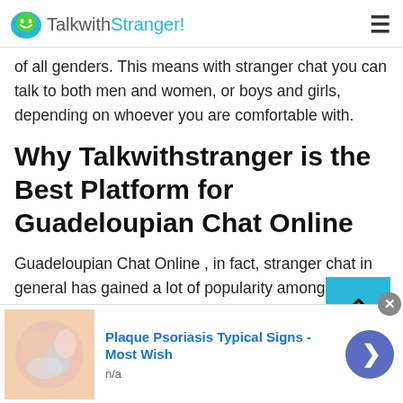TalkwithStranger!
of all genders. This means with stranger chat you can talk to both men and women, or boys and girls, depending on whoever you are comfortable with.
Why Talkwithstranger is the Best Platform for Guadeloupian Chat Online
Guadeloupian Chat Online , in fact, stranger chat in general has gained a lot of popularity among people from all over the world. This is because random chat applications or platforms, such as Chat with Strangers
[Figure (screenshot): Advertisement banner: Plaque Psoriasis Typical Signs - Most Wish, n/a, with thumbnail image]
Plaque Psoriasis Typical Signs - Most Wish
n/a